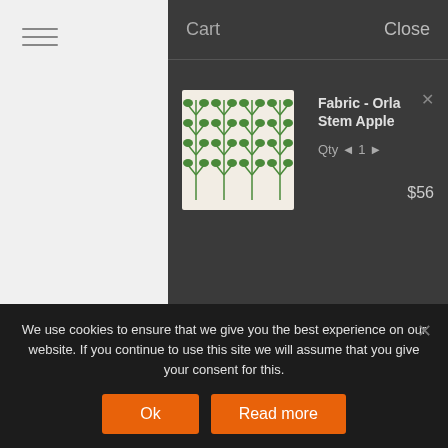Cart
Close
Fabric - Orla Stem Apple
Qty ◄ 1 ► $56
Subtotal: $56
We use cookies to ensure that we give you the best experience on our website. If you continue to use this site we will assume that you give your consent for this.
Ok
Read more